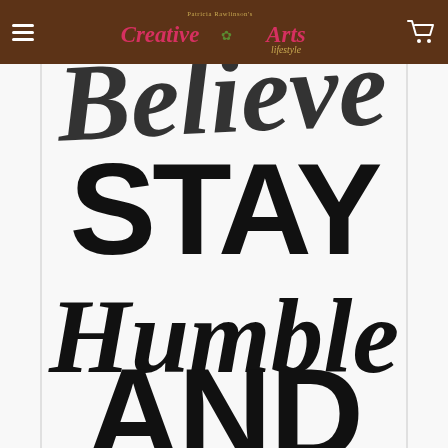Patricia Rawlinson's Creative Arts Lifestyle — navigation header with hamburger menu and cart icon
[Figure (illustration): Large stencil-style typographic artwork showing the words 'STAY Humble AND...' in bold mixed-style lettering — 'STAY' in large condensed sans-serif caps, 'Humble' in flowing script, 'AND' in large bold letters — black text on white background, partially cropped]